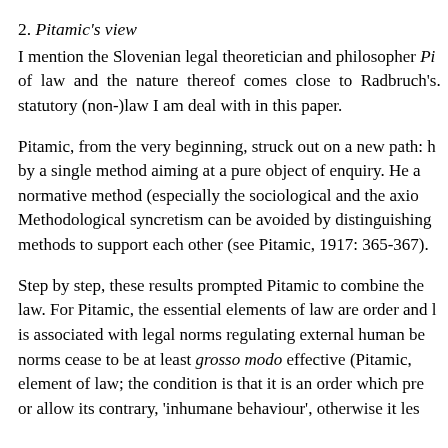2. Pitamic's view
I mention the Slovenian legal theoretician and philosopher Pi... of law and the nature thereof comes close to Radbruch's. statutory (non-)law I am deal with in this paper.
Pitamic, from the very beginning, struck out on a new path: h by a single method aiming at a pure object of enquiry. He a normative method (especially the sociological and the axio Methodological syncretism can be avoided by distinguishing methods to support each other (see Pitamic, 1917: 365-367).
Step by step, these results prompted Pitamic to combine the law. For Pitamic, the essential elements of law are order and i is associated with legal norms regulating external human be norms cease to be at least grosso modo effective (Pitamic, element of law; the condition is that it is an order which pre or allow its contrary, 'inhumane behaviour', otherwise it les